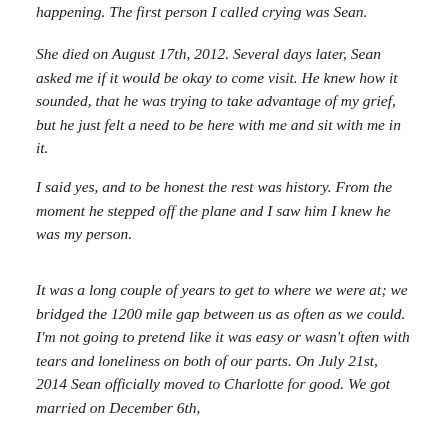happening. The first person I called crying was Sean.
She died on August 17th, 2012. Several days later, Sean asked me if it would be okay to come visit. He knew how it sounded, that he was trying to take advantage of my grief, but he just felt a need to be here with me and sit with me in it.
I said yes, and to be honest the rest was history. From the moment he stepped off the plane and I saw him I knew he was my person.
It was a long couple of years to get to where we were at; we bridged the 1200 mile gap between us as often as we could. I'm not going to pretend like it was easy or wasn't often with tears and loneliness on both of our parts. On July 21st, 2014 Sean officially moved to Charlotte for good. We got married on December 6th,